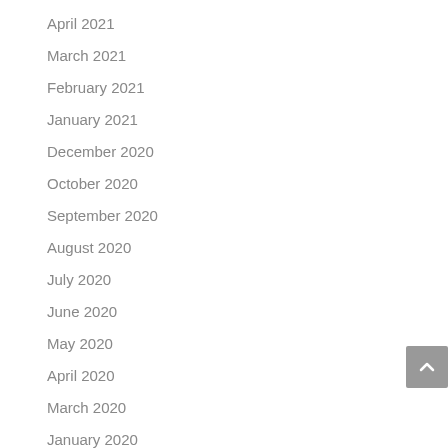April 2021
March 2021
February 2021
January 2021
December 2020
October 2020
September 2020
August 2020
July 2020
June 2020
May 2020
April 2020
March 2020
January 2020
November 2019